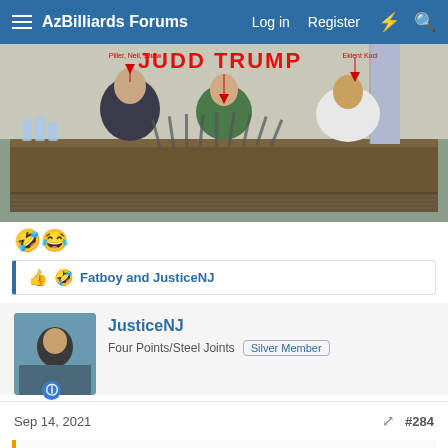AzBilliards Forums  Log in  Register
[Figure (photo): Press conference photo with three people sitting at a table with many microphones. Red text overlay reads 'JUDD TRUMP' with arrows pointing to each person. Labels: 'Piller, Neil, Shaw' on left, 'Ekient Koci' on right.]
🤣😂
👍 🤣 Fatboy and JusticeNJ
JusticeNJ
Four Points/Steel Joints  Silver Member
Sep 14, 2021  #284
Tin Man said: ⊕